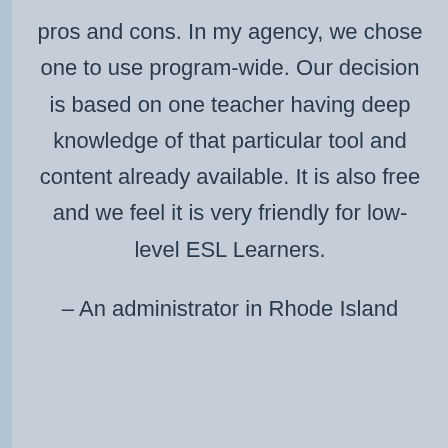pros and cons. In my agency, we chose one to use program-wide. Our decision is based on one teacher having deep knowledge of that particular tool and content already available. It is also free and we feel it is very friendly for low-level ESL Learners.
– An administrator in Rhode Island